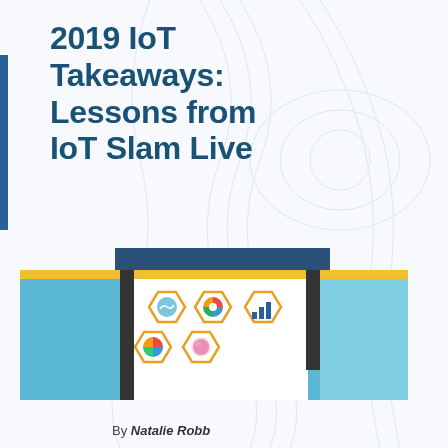2019 IoT Takeaways: Lessons from IoT Slam Live
[Figure (other): READ MORE button — dark navy rectangular CTA button with white uppercase text]
[Figure (illustration): Horizontal banner card with light blue background, yellow top stripe, dark vertical accent bars, and five hexagonal IoT-themed icons in the center on a white background]
By Natalie Robb